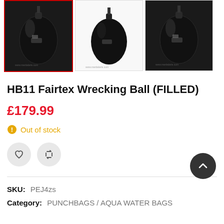[Figure (photo): Three thumbnail images of a black Fairtex Wrecking Ball heavy bag. The first image has a red border (selected), the other two have grey borders.]
HB11 Fairtex Wrecking Ball (FILLED)
£179.99
Out of stock
SKU:  PEJ4zs
Category:  PUNCHBAGS / AQUA WATER BAGS